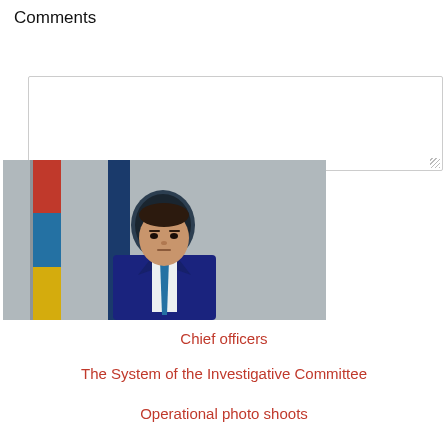Comments
[Figure (photo): A textarea/comment input box with a resize handle in the bottom-right corner]
[Figure (photo): Official portrait photo of a man in a dark navy suit with a blue tie, standing in front of Armenian flags and an official emblem/badge. Gray background.]
Chief officers
The System of the Investigative Committee
Operational photo shoots